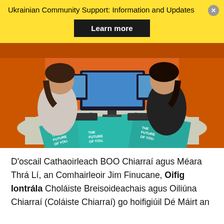Ukrainian Community Support: Information and Updates
[Figure (photo): Two women sitting across a table in an orange booth, typing on keyboards with monitors between them and teal-colored brochures reading 'The Future of You' on the table.]
D'oscail Cathaoirleach BOO Chiarraí agus Méara Thrá Lí, an Comhairleoir Jim Finucane, Oifig Iontrála Choláiste Breisoideachais agus Oiliúna Chiarraí (Coláiste Chiarraí) go hoifigiúil Dé Máirt an